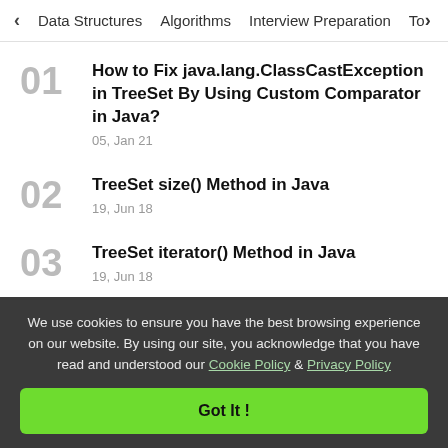< Data Structures   Algorithms   Interview Preparation   To>
How to Fix java.lang.ClassCastException in TreeSet By Using Custom Comparator in Java?
05, Jan 21
TreeSet size() Method in Java
19, Jun 18
TreeSet iterator() Method in Java
19, Jun 18
TreeSet remove() Method in Java
We use cookies to ensure you have the best browsing experience on our website. By using our site, you acknowledge that you have read and understood our Cookie Policy & Privacy Policy
Got It !